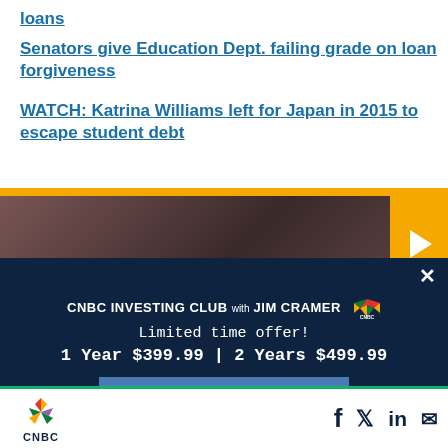loans
Senators give Education Dept. failing grade on loan forgiveness
WATCH: Katrina Williams left for Japan in 2015 to escape student debt
[Figure (screenshot): Video thumbnail with yellow play button bar]
[Figure (screenshot): CNBC Investing Club with Jim Cramer modal overlay. Limited time offer! 1 Year $399.99 | 2 Years $499.99. BECOME A MEMBER button.]
CNBC logo with peacock icon, social media icons: Facebook, Twitter, LinkedIn, Email